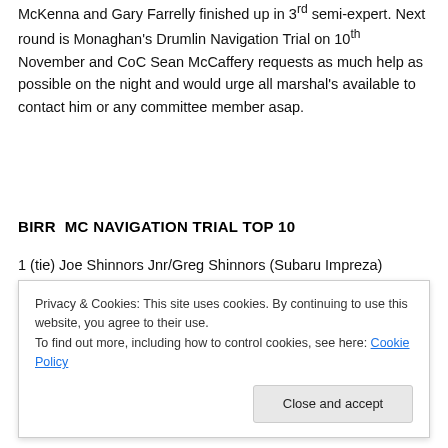McKenna and Gary Farrelly finished up in 3rd semi-expert. Next round is Monaghan's Drumlin Navigation Trial on 10th November and CoC Sean McCaffery requests as much help as possible on the night and would urge all marshal's available to contact him or any committee member asap.
BIRR  MC NAVIGATION TRIAL TOP 10
1 (tie) Joe Shinnors Jnr/Greg Shinnors (Subaru Impreza)
Privacy & Cookies: This site uses cookies. By continuing to use this website, you agree to their use.
To find out more, including how to control cookies, see here: Cookie Policy
5 Bould Farrelly (Peugeot) and more list items...